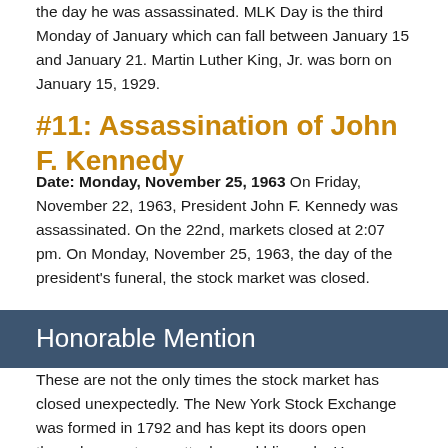the day he was assassinated. MLK Day is the third Monday of January which can fall between January 15 and January 21. Martin Luther King, Jr. was born on January 15, 1929.
#11: Assassination of John F. Kennedy
Date: Monday, November 25, 1963 On Friday, November 22, 1963, President John F. Kennedy was assassinated. On the 22nd, markets closed at 2:07 pm. On Monday, November 25, 1963, the day of the president's funeral, the stock market was closed.
Honorable Mention
These are not the only times the stock market has closed unexpectedly. The New York Stock Exchange was formed in 1792 and has kept its doors open through wars, terror attacks, and blizzards. However, the market does occasionally during emergencies or to honor late presidents. Here are a few more